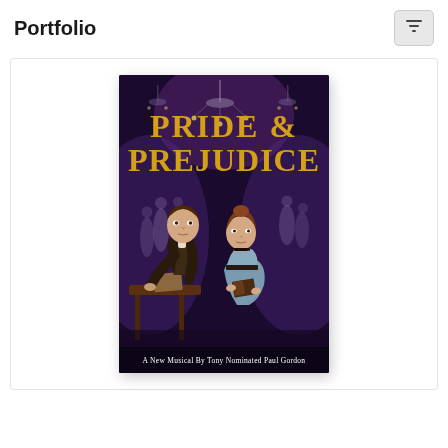Portfolio
[Figure (photo): Theatrical poster for 'Pride & Prejudice – A New Musical By Tony Nominated Paul Gordon'. Shows two period-costumed actors (a man at a desk and a woman holding a book) against a purple-toned ballroom background with dancers and chandeliers. Title text in gold serif font.]